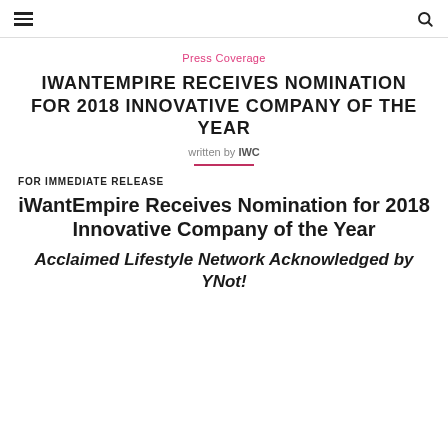≡  🔍
Press Coverage
IWANTEMPIRE RECEIVES NOMINATION FOR 2018 INNOVATIVE COMPANY OF THE YEAR
written by IWC
FOR IMMEDIATE RELEASE
iWantEmpire Receives Nomination for 2018 Innovative Company of the Year
Acclaimed Lifestyle Network Acknowledged by YNot!